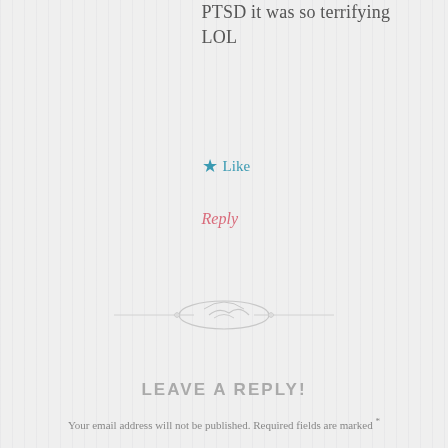PTSD it was so terrifying LOL
★ Like
Reply
[Figure (illustration): Decorative divider ornament with scrollwork]
LEAVE A REPLY!
Your email address will not be published. Required fields are marked *